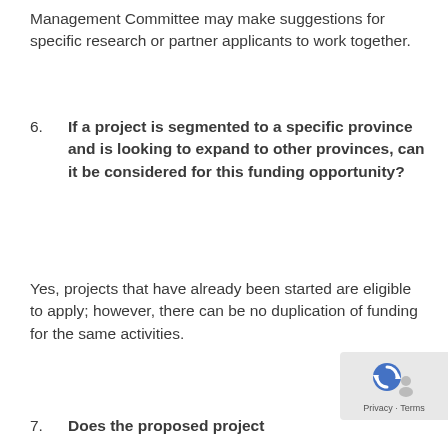Management Committee may make suggestions for specific research or partner applicants to work together.
6. If a project is segmented to a specific province and is looking to expand to other provinces, can it be considered for this funding opportunity?
Yes, projects that have already been started are eligible to apply; however, there can be no duplication of funding for the same activities.
7. Does the proposed project